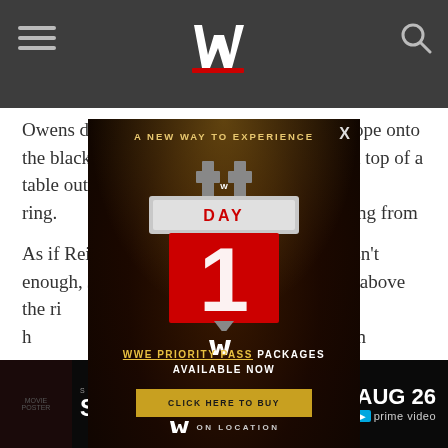WWE
Owens delivered a Frog Splash off the top rope onto the black-clad Superstar, who was strewn on top of a table outside the ring. managed to brutal beating from
As if Reigns wasn't enough, Jeri his perch above the ri ject around his h with his own version
The former own, though, onc wens with a wicked Samoan drop onto a steel chair. As the two foes continued their epic fight, more than 52,000 fans in
[Figure (advertisement): WWE Day 1 Priority Pass advertisement overlay with gold text 'A NEW WAY TO EXPERIENCE', Day 1 logo graphic, 'WWE PRIORITY PASS PACKAGES AVAILABLE NOW' text, 'CLICK HERE TO BUY' button in gold, WWE On Location footer]
[Figure (advertisement): Samaritan movie advertisement banner - Sylvester Stallone, Aug 26, Prime Video]